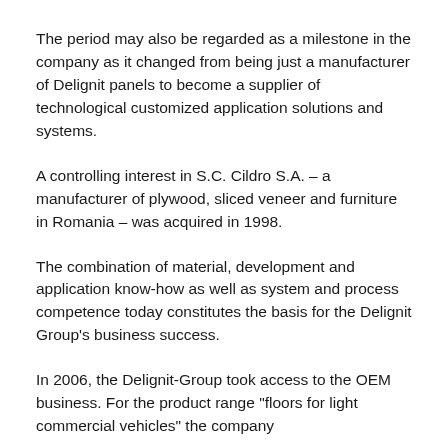The period may also be regarded as a milestone in the company as it changed from being just a manufacturer of Delignit panels to become a supplier of technological customized application solutions and systems.
A controlling interest in S.C. Cildro S.A. – a manufacturer of plywood, sliced veneer and furniture in Romania – was acquired in 1998.
The combination of material, development and application know-how as well as system and process competence today constitutes the basis for the Delignit Group's business success.
In 2006, the Delignit-Group took access to the OEM business. For the product range "floors for light commercial vehicles" the company